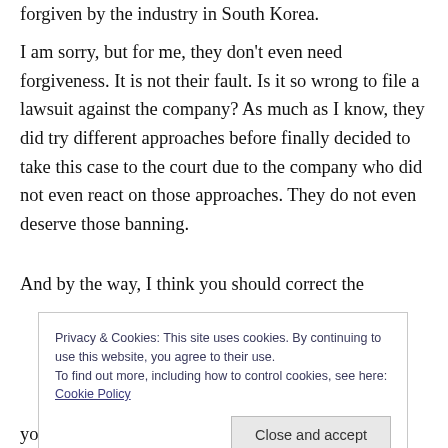forgiven by the industry in South Korea.
I am sorry, but for me, they don't even need forgiveness. It is not their fault. Is it so wrong to file a lawsuit against the company? As much as I know, they did try different approaches before finally decided to take this case to the court due to the company who did not even react on those approaches. They do not even deserve those banning.
And by the way, I think you should correct the
Privacy & Cookies: This site uses cookies. By continuing to use this website, you agree to their use.
To find out more, including how to control cookies, see here: Cookie Policy
your clarification of the statement. And the last